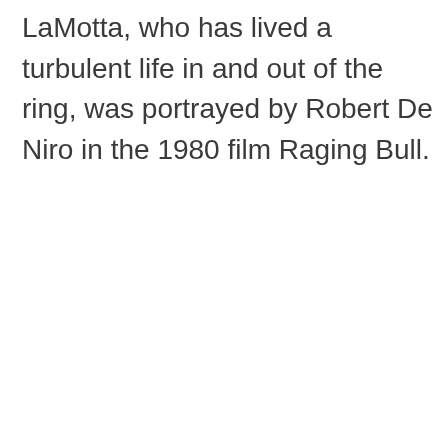LaMotta, who has lived a turbulent life in and out of the ring, was portrayed by Robert De Niro in the 1980 film Raging Bull.